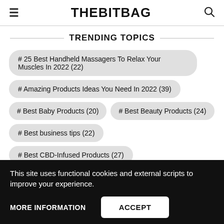THEBITBAG
TRENDING TOPICS
# 25 Best Handheld Massagers To Relax Your Muscles In 2022 (22)
# Amazing Products Ideas You Need In 2022 (39)
# Best Baby Products (20)
# Best Beauty Products (24)
# Best business tips (22)
# Best CBD-Infused Products (27)
# Best Digital Marketing Tools (23)
# Best Gaming Tools And Gadgets (19)
This site uses functional cookies and external scripts to improve your experience.
MORE INFORMATION | ACCEPT